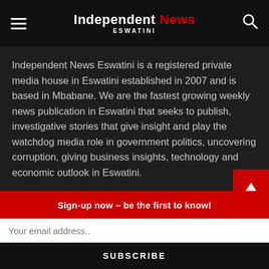Independent News ESWATINI
Independent News Eswatini is a registered private media house in Eswatini established in 2007 and is based in Mbabane. We are the fastest growing weekly news publication in Eswatini that seeks to publish, investigative stories that give insight and play the watchdog media role in government politics, uncovering corruption, giving business insights, technology and economic outlook in Eswatini.
Follow Us
[Figure (other): Facebook and Twitter social media icon buttons]
Sign-up now - be the first to know!
Your email address..
SUBSCRIBE